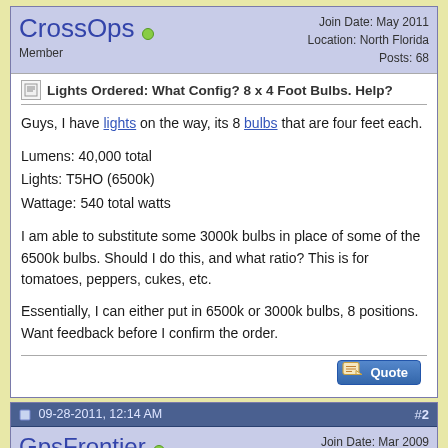CrossOps — Member | Join Date: May 2011 | Location: North Florida | Posts: 68
Lights Ordered: What Config? 8 x 4 Foot Bulbs. Help?
Guys, I have lights on the way, its 8 bulbs that are four feet each.

Lumens: 40,000 total
Lights: T5HO (6500k)
Wattage: 540 total watts

I am able to substitute some 3000k bulbs in place of some of the 6500k bulbs. Should I do this, and what ratio? This is for tomatoes, peppers, cukes, etc.

Essentially, I can either put in 6500k or 3000k bulbs, 8 positions. Want feedback before I confirm the order.
09-28-2011, 12:14 AM  #2
GpsFrontier — Senior Member | Join Date: Mar 2009 | Location: Lake Havasu AZ. | Posts: 1,855